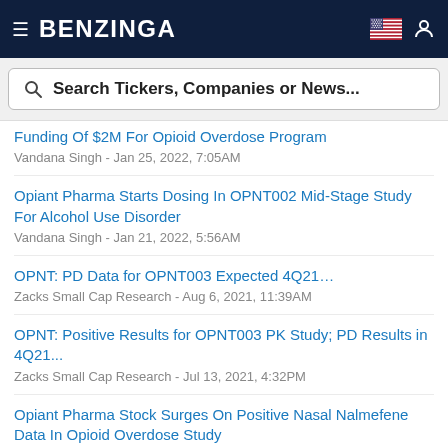BENZINGA
Search Tickers, Companies or News...
Funding Of $2M For Opioid Overdose Program — Vandana Singh - Jan 25, 2022, 7:05AM
Opiant Pharma Starts Dosing In OPNT002 Mid-Stage Study For Alcohol Use Disorder — Vandana Singh - Jan 21, 2022, 5:56AM
OPNT: PD Data for OPNT003 Expected 4Q21… — Zacks Small Cap Research - Aug 6, 2021, 11:39AM
OPNT: Positive Results for OPNT003 PK Study; PD Results in 4Q21... — Zacks Small Cap Research - Jul 13, 2021, 4:32PM
Opiant Pharma Stock Surges On Positive Nasal Nalmefene Data In Opioid Overdose Study — Vandana Singh - Jul 7, 2021, 7:52AM